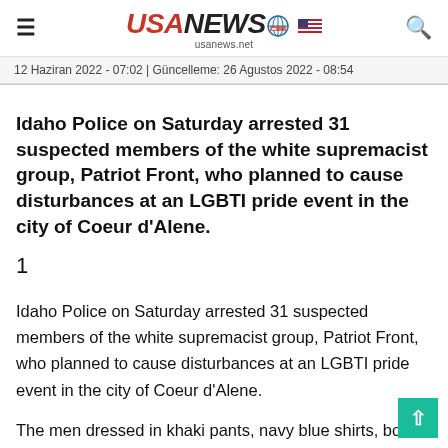USA NEWS usanews.net
12 Haziran 2022 - 07:02 | Güncelleme: 26 Agustos 2022 - 08:54
Idaho Police on Saturday arrested 31 suspected members of the white supremacist group, Patriot Front, who planned to cause disturbances at an LGBTI pride event in the city of Coeur d'Alene.
1
Idaho Police on Saturday arrested 31 suspected members of the white supremacist group, Patriot Front, who planned to cause disturbances at an LGBTI pride event in the city of Coeur d'Alene.
The men dressed in khaki pants, navy blue shirts, bo...